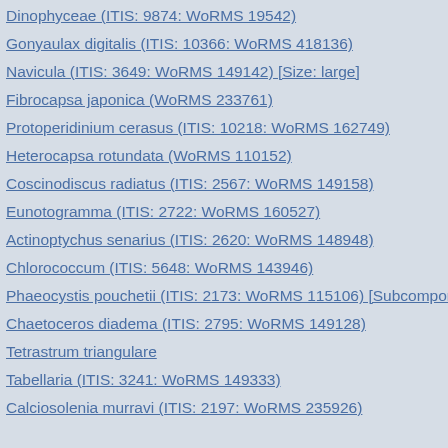Dinophyceae (ITIS: 9874: WoRMS 19542)
Gonyaulax digitalis (ITIS: 10366: WoRMS 418136)
Navicula (ITIS: 3649: WoRMS 149142) [Size: large]
Fibrocapsa japonica (WoRMS 233761)
Protoperidinium cerasus (ITIS: 10218: WoRMS 162749)
Heterocapsa rotundata (WoRMS 110152)
Coscinodiscus radiatus (ITIS: 2567: WoRMS 149158)
Eunotogramma (ITIS: 2722: WoRMS 160527)
Actinoptychus senarius (ITIS: 2620: WoRMS 148948)
Chlorococcum (ITIS: 5648: WoRMS 143946)
Phaeocystis pouchetii (ITIS: 2173: WoRMS 115106) [Subcomponent:
Chaetoceros diadema (ITIS: 2795: WoRMS 149128)
Tetrastrum triangulare
Tabellaria (ITIS: 3241: WoRMS 149333)
Calciosolenia murravi (ITIS: 2197: WoRMS 235926)